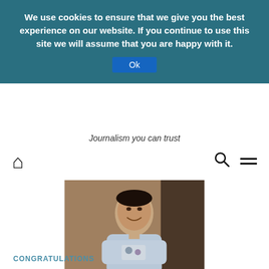We use cookies to ensure that we give you the best experience on our website. If you continue to use this site we will assume that you are happy with it.
Ok
Journalism you can trust
[Figure (photo): Navigation bar with home icon on the left and search/menu icons on the right]
[Figure (photo): A woman smiling, wearing a light blue embroidered outfit with a badge, standing outdoors in front of a building]
CONGRATULATIONS